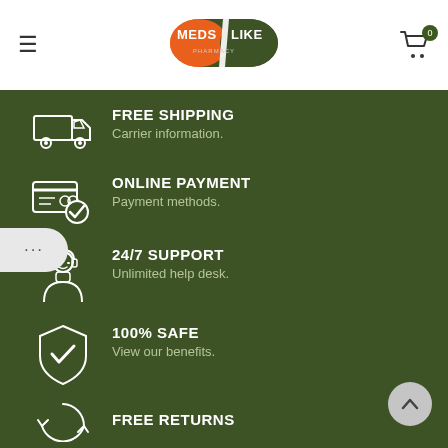MEDSLIKE PHARMACY
[Figure (infographic): FREE SHIPPING icon - delivery truck outline in white]
FREE SHIPPING
Carrier information.
[Figure (infographic): ONLINE PAYMENT icon - credit card with checkmark outline in white]
ONLINE PAYMENT
Payment methods.
[Figure (infographic): 24/7 SUPPORT icon - customer support agent outline in white]
24/7 SUPPORT
Unlimited help desk.
[Figure (infographic): 100% SAFE icon - shield with checkmark outline in white]
100% SAFE
View our benefits.
FREE RETURNS